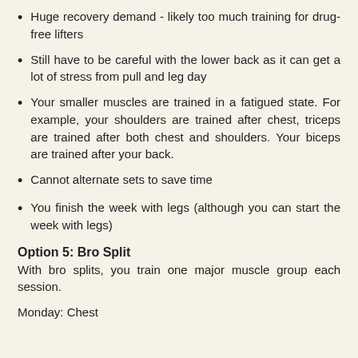Huge recovery demand - likely too much training for drug-free lifters
Still have to be careful with the lower back as it can get a lot of stress from pull and leg day
Your smaller muscles are trained in a fatigued state. For example, your shoulders are trained after chest, triceps are trained after both chest and shoulders. Your biceps are trained after your back.
Cannot alternate sets to save time
You finish the week with legs (although you can start the week with legs)
Option 5: Bro Split
With bro splits, you train one major muscle group each session.
Monday: Chest